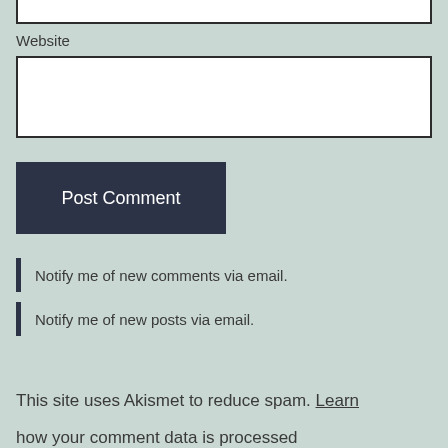Website
Post Comment
Notify me of new comments via email.
Notify me of new posts via email.
This site uses Akismet to reduce spam. Learn how your comment data is processed.